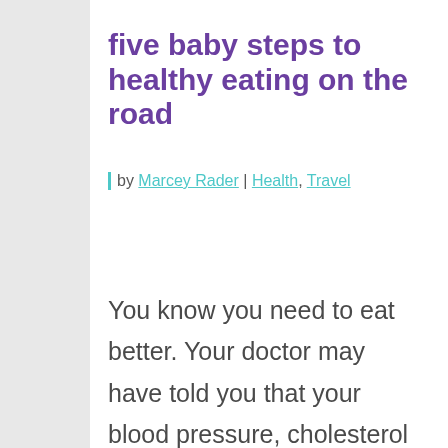five baby steps to healthy eating on the road
by Marcey Rader | Health, Travel
You know you need to eat better. Your doctor may have told you that your blood pressure, cholesterol and/or blood
Who doesn't love cookies? Okay, maybe you're more of a brownie fan. Still, we need to tell you that we're cookie lovers, so you get the best experience by remembering your preferences. By clicking accept, you consent that you are also #TeamCookie.
Cookie Settings | Accept All